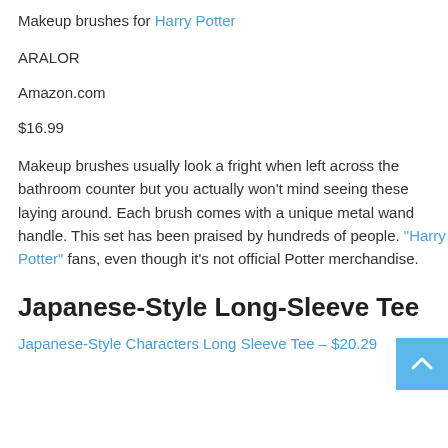Makeup brushes for Harry Potter
ARALOR
Amazon.com
$16.99
Makeup brushes usually look a fright when left across the bathroom counter but you actually won't mind seeing these laying around. Each brush comes with a unique metal wand handle. This set has been praised by hundreds of people. "Harry Potter" fans, even though it's not official Potter merchandise.
Japanese-Style Long-Sleeve Tee
Japanese-Style Characters Long Sleeve Tee – $20.29